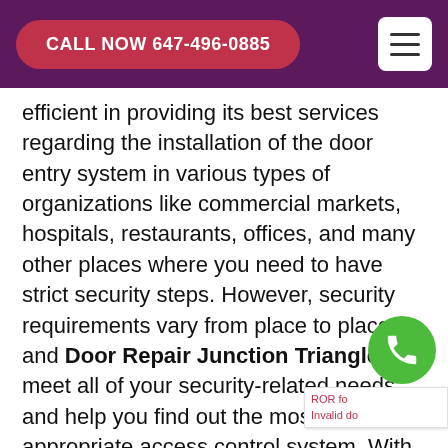CALL NOW 647-496-0885
efficient in providing its best services regarding the installation of the door entry system in various types of organizations like commercial markets, hospitals, restaurants, offices, and many other places where you need to have strict security steps. However, security requirements vary from place to place and Door Repair Junction Triangle can meet all of your security-related needs and help you find out the most appropriate access control system. With Door Repair Junction Triangle, you would come to enjoy the real benefits of a well-maintained and Perfectly Installed Entry System whether it is for internal security or for external security matters in Junction